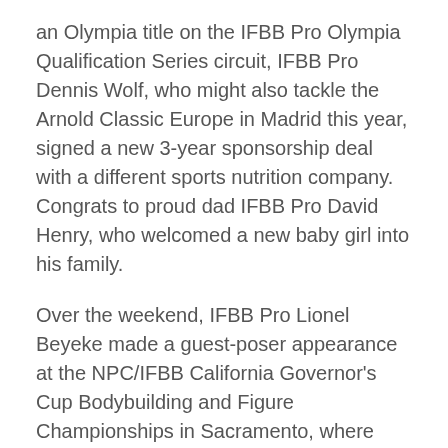an Olympia title on the IFBB Pro Olympia Qualification Series circuit, IFBB Pro Dennis Wolf, who might also tackle the Arnold Classic Europe in Madrid this year, signed a new 3-year sponsorship deal with a different sports nutrition company. Congrats to proud dad IFBB Pro David Henry, who welcomed a new baby girl into his family.
Over the weekend, IFBB Pro Lionel Beyeke made a guest-poser appearance at the NPC/IFBB California Governor's Cup Bodybuilding and Figure Championships in Sacramento, where there was a seminar paneled by IFBB Pro Steve Kuclo. At the NPC Baltimore Gladiator Championships, which hosted an Armed Forces Division, 4-time Mr. Olympia IFBB Pro Jay Cutler was a featured guest. IFBB Pro Fred Smalls took the stage in Maryland and even brought his kids onstage to join in the show.